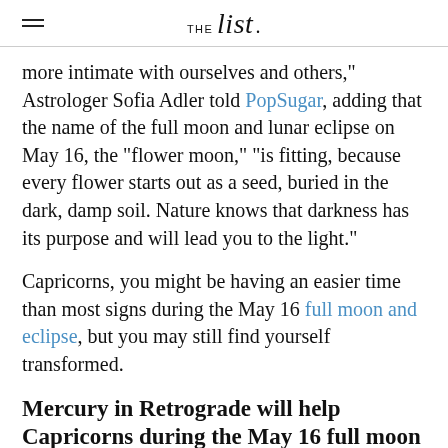THE list.
more intimate with ourselves and others," Astrologer Sofia Adler told PopSugar, adding that the name of the full moon and lunar eclipse on May 16, the "flower moon," "is fitting, because every flower starts out as a seed, buried in the dark, damp soil. Nature knows that darkness has its purpose and will lead you to the light."
Capricorns, you might be having an easier time than most signs during the May 16 full moon and eclipse, but you may still find yourself transformed.
Mercury in Retrograde will help Capricorns during the May 16 full moon